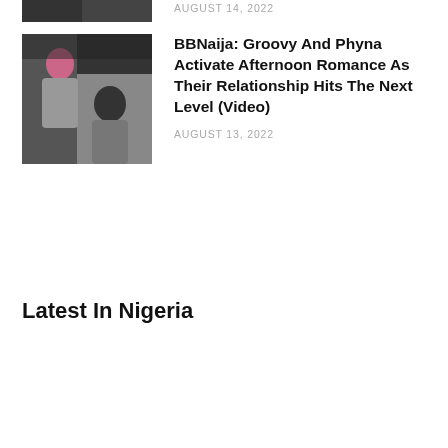[Figure (photo): Partial thumbnail image at top of page, cropped]
AUGUST 14, 2022
[Figure (photo): Thumbnail image of two people, one with pink/red hair and one with dark hair facing each other]
BBNaija: Groovy And Phyna Activate Afternoon Romance As Their Relationship Hits The Next Level (Video)
AUGUST 13, 2022
Latest In Nigeria